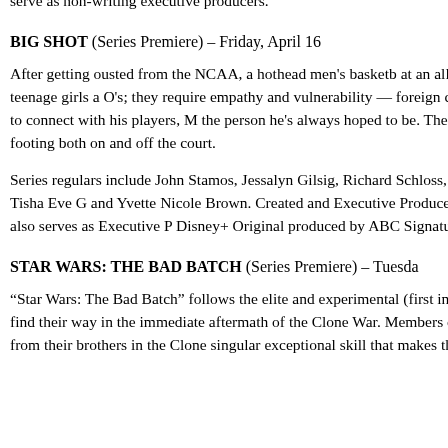serve as non-writing executive producers.
BIG SHOT (Series Premiere) – Friday, April 16
After getting ousted from the NCAA, a hothead men's basketball coach is forced to take a job at an all-girls high school. He soon learns that teenage girls are not like the male athletes he's coached — O's; they require empathy and vulnerability — foreign concepts for the stoic and demanding Coach Korn (John Stamos). By learning how to connect with his players, Marvyn starts to grow into the person he's always hoped to be. The girls learn to take their craft more seriously while finding their footing both on and off the court.
Series regulars include John Stamos, Jessalyn Gilsig, Richard Robichaux, Sophia Schloss, Nell Verlaque, Tiana Le, Monique Green, Tisha Eve G and Yvette Nicole Brown. Created and Executive Produced by Lorey and Brad Garrett; Bill D'Elia also serves as Executive P Disney+ Original produced by ABC Signature.
STAR WARS: THE BAD BATCH (Series Premiere) – Tuesday
“Star Wars: The Bad Batch” follows the elite and experimental (first introduced in “The Clone Wars”) as they find their way in the immediate aftermath of the Clone War. Members of Bad of clones who vary genetically from their brothers in the Clone singular exceptional skill that makes them extraordinarily effec